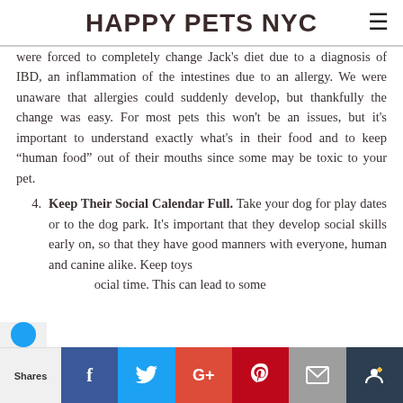HAPPY PETS NYC
were forced to completely change Jack's diet due to a diagnosis of IBD, an inflammation of the intestines due to an allergy. We were unaware that allergies could suddenly develop, but thankfully the change was easy. For most pets this won't be an issues, but it's important to understand exactly what's in their food and to keep “human food” out of their mouths since some may be toxic to your pet.
4. Keep Their Social Calendar Full. Take your dog for play dates or to the dog park. It's important that they develop social skills early on, so that they have good manners with everyone, human and canine alike. Keep toys ... social time. This can lead to some